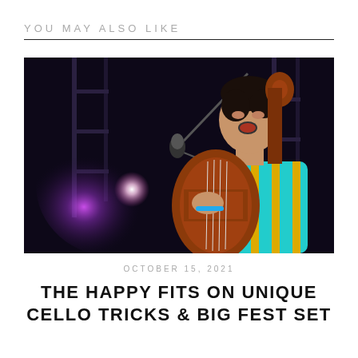YOU MAY ALSO LIKE
[Figure (photo): Young man singing into a microphone while playing a cello on a dark outdoor stage with purple stage lighting. He wears a teal and yellow striped short-sleeve shirt.]
OCTOBER 15, 2021
THE HAPPY FITS ON UNIQUE CELLO TRICKS & BIG FEST SET